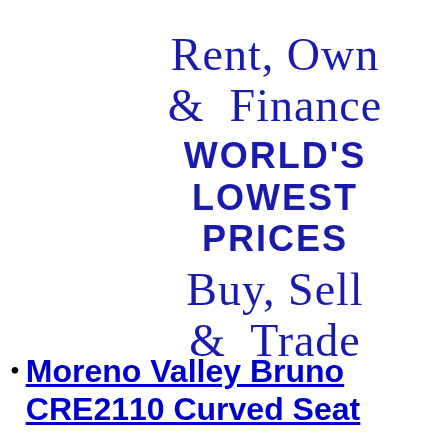Rent, Own & Finance WORLD'S LOWEST PRICES Buy, Sell & Trade
Moreno Valley Bruno CRE2110 Curved Seat